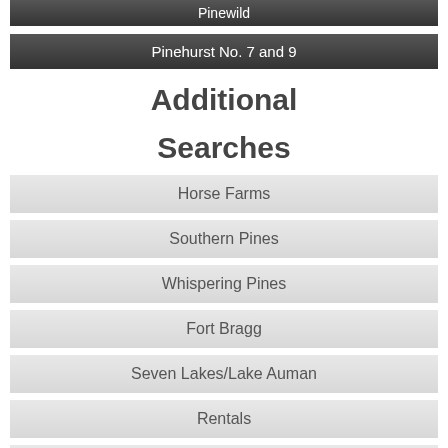Pinewild
Pinehurst No. 7 and 9
Additional
Searches
Horse Farms
Southern Pines
Whispering Pines
Fort Bragg
Seven Lakes/Lake Auman
Rentals
Condos
Pinehurst Waterfront and